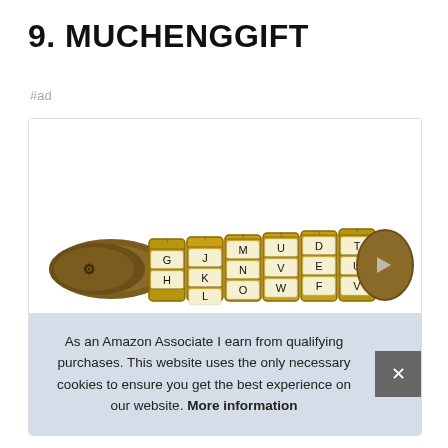9. MUCHENGGIFT
#ad
[Figure (photo): A brass cryptex combination lock cylinder lying on its side, showing letter dials with characters including G, J, H, M, K, L, U, N, O, D, V, W, T, E, F, U, V visible on the rotating rings.]
As an Amazon Associate I earn from qualifying purchases. This website uses the only necessary cookies to ensure you get the best experience on our website. More information